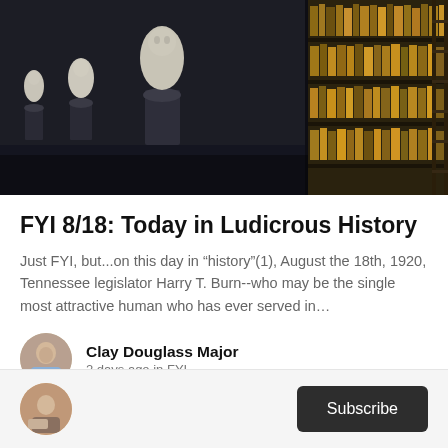[Figure (photo): Library interior with marble busts on pedestals on the left and dark wooden bookshelves filled with old books on the right, dark moody lighting]
FYI 8/18: Today in Ludicrous History
Just FYI, but...on this day in “history”(1), August the 18th, 1920, Tennessee legislator Harry T. Burn--who may be the single most attractive human who has ever served in...
Clay Douglass Major
2 days ago in FYI